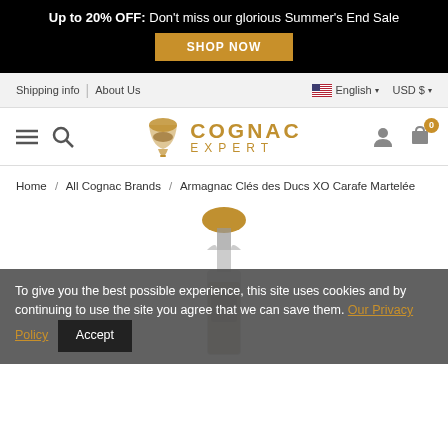Up to 20% OFF: Don't miss our glorious Summer's End Sale
SHOP NOW
Shipping info | About Us | English | USD $
[Figure (logo): Cognac Expert logo with cognac glass icon and gold text reading COGNAC EXPERT]
Home / All Cognac Brands / Armagnac Clés des Ducs XO Carafe Martelée
[Figure (photo): Armagnac Clés des Ducs XO Carafe Martelée bottle, partially visible]
To give you the best possible experience, this site uses cookies and by continuing to use the site you agree that we can save them. Our Privacy Policy  Accept